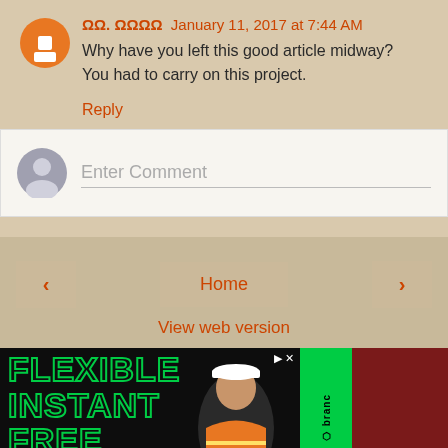ΩΩ. ΩΩΩΩ  January 11, 2017 at 7:44 AM
Why have you left this good article midway?
You had to carry on this project.
Reply
Enter Comment
‹
Home
›
View web version
[Figure (photo): Advertisement banner showing text FLEXIBLE INSTANT FREE in green outlined letters on dark background, with a smiling man in orange safety vest and white hard hat on the right side, and a green brand sidebar on the far right.]